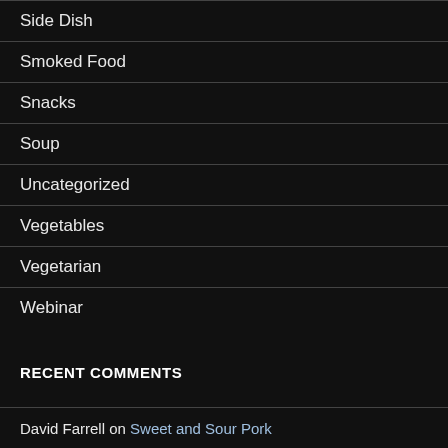Side Dish
Smoked Food
Snacks
Soup
Uncategorized
Vegetables
Vegetarian
Webinar
RECENT COMMENTS
David Farrell on Sweet and Sour Pork
David Farrell on Smoked Cheese on the Bradley